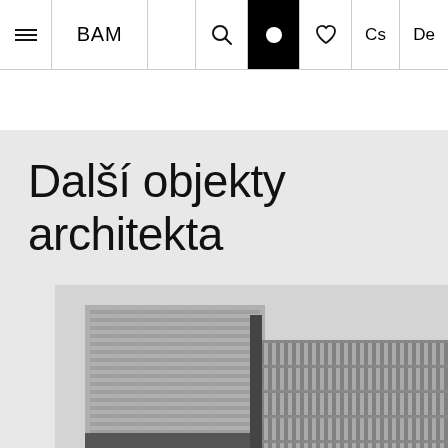≡  BAM  🔍  •  ♡  Cs  De
Další objekty architekta
[Figure (photo): Black and white photograph of modernist architecture buildings — a tall multi-story office or hotel tower with a grid of windows on the left, and a lower horizontal building with vertical fins/louvers on the right.]